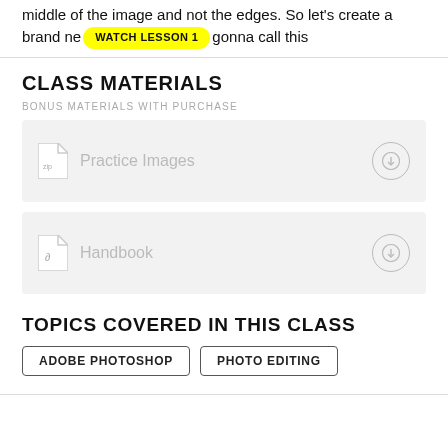middle of the image and not the edges. So let's create a brand new [WATCH LESSON 1] gonna call this
CLASS MATERIALS
BONUS MATERIALS WITH PURCHASE
Practice Images
Handbook
TOPICS COVERED IN THIS CLASS
ADOBE PHOTOSHOP
PHOTO EDITING